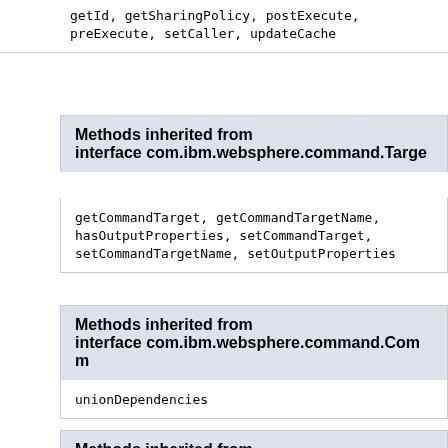getId, getSharingPolicy, postExecute, preExecute, setCaller, updateCache
Methods inherited from interface com.ibm.websphere.command.Targe
getCommandTarget, getCommandTargetName, hasOutputProperties, setCommandTarget, setCommandTargetName, setOutputProperties
Methods inherited from interface com.ibm.websphere.command.Comm
unionDependencies
Methods inherited from interface com.ibm.commerce.command.AccCo
accessControlCheck, getAccCheck, getForUserId, getResourceOwners, setAccCheck, setForUserId, setOwner